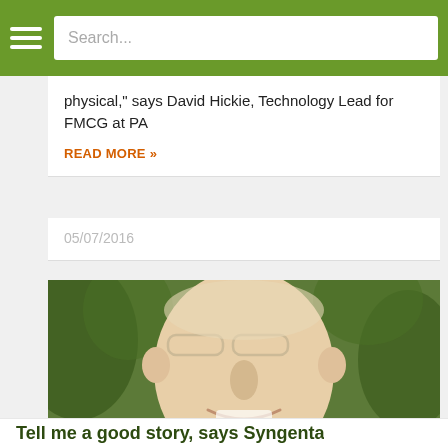Search...
physical," says David Hickie, Technology Lead for FMCG at PA
READ MORE »
05/07/2016
[Figure (photo): Close-up photo of a smiling middle-aged man with glasses and a green leafy background]
Tell me a good story, says Syngenta